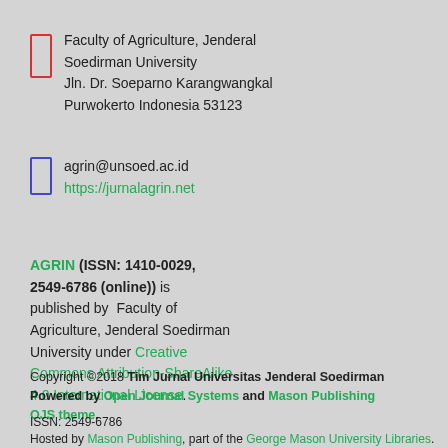Faculty of Agriculture, Jenderal Soedirman University
Jln. Dr. Soeparno Karangwangkal
Purwokerto Indonesia 53123
agrin@unsoed.ac.id
https://jurnalagrin.net
AGRIN (ISSN: 1410-0029, 2549-6786 (online)) is published by Faculty of Agriculture, Jenderal Soedirman University under Creative Commons Attribution-ShareAlike 4.0 International License.
Copyright ©2018 Tim Jurnal Universitas Jenderal Soedirman Powered by Open Journal Systems and Mason Publishing OJS theme.
ISSN: 2549-6786
Hosted by Mason Publishing, part of the George Mason University Libraries.